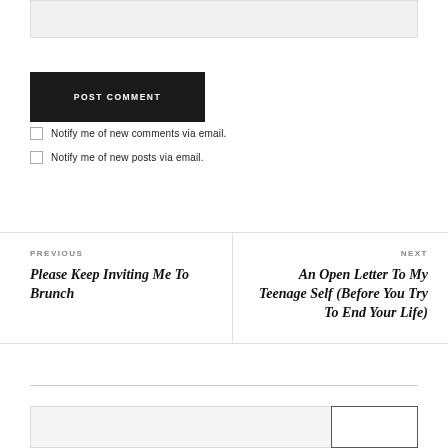POST COMMENT
Notify me of new comments via email.
Notify me of new posts via email.
PREVIOUS
Please Keep Inviting Me To Brunch
NEXT
An Open Letter To My Teenage Self (Before You Try To End Your Life)